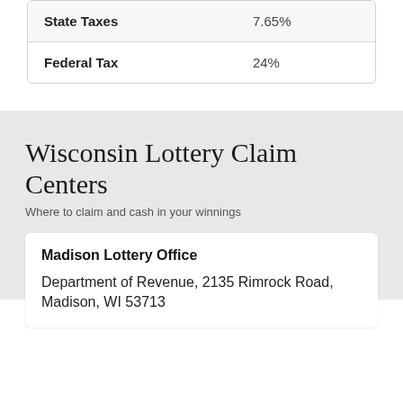|  |  |
| --- | --- |
| State Taxes | 7.65% |
| Federal Tax | 24% |
Wisconsin Lottery Claim Centers
Where to claim and cash in your winnings
Madison Lottery Office
Department of Revenue, 2135 Rimrock Road, Madison, WI 53713